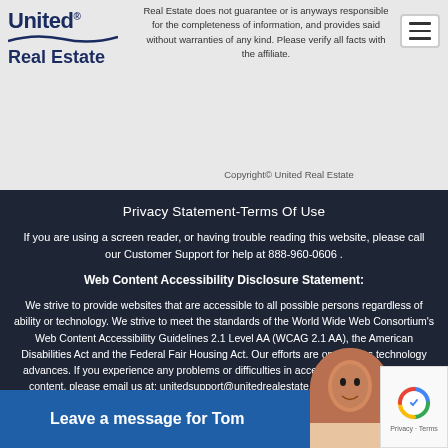[Figure (logo): United Real Estate logo with wave graphic]
Real Estate does not guarantee or is anyways responsible for the completeness of information, and provides said without warranties of any kind. Please verify all facts with the affiliate. Copyright© United Real Estate
Privacy Statement-Terms Of Use
If you are using a screen reader, or having trouble reading this website, please call our Customer Support for help at 888-960-0606 .
Web Content Accessibility Disclosure Statement:
We strive to provide websites that are accessible to all possible persons regardless of ability or technology. We strive to meet the standards of the World Wide Web Consortium's Web Content Accessibility Guidelines 2.1 Level AA (WCAG 2.1 AA), the American Disabilities Act and the Federal Fair Housing Act. Our efforts are ongoing as technology advances. If you experience any problems or difficulties in accessing this website or its content, please email us at: unitedsupport@unitedrealestate.com. Please be sure to specify the issue and a link to the website page in your email. We will all our best efforts to continuously improve…
Leave a message for Tom